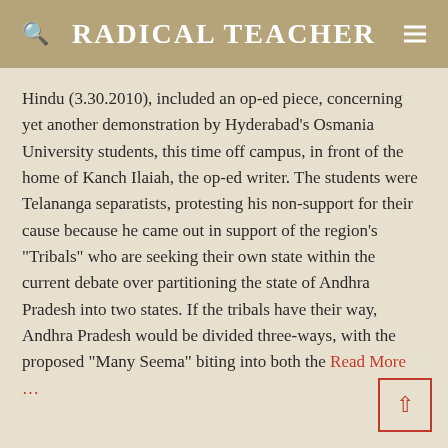RADICAL TEACHER
Hindu (3.30.2010), included an op-ed piece, concerning yet another demonstration by Hyderabad’s Osmania University students, this time off campus, in front of the home of Kanch Ilaiah, the op-ed writer. The students were Telananga separatists, protesting his non-support for their cause because he came out in support of the region’s “Tribals” who are seeking their own state within the current debate over partitioning the state of Andhra Pradesh into two states. If the tribals have their way, Andhra Pradesh would be divided three-ways, with the proposed “Many Seema” biting into both the Read More …